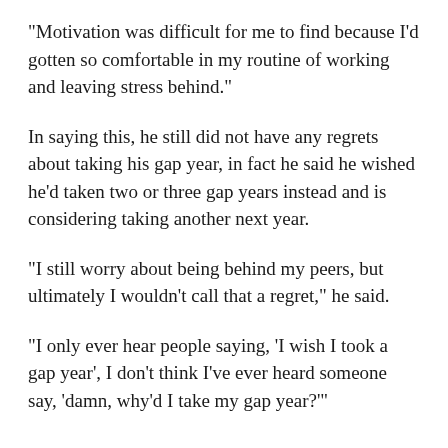“Motivation was difficult for me to find because I’d gotten so comfortable in my routine of working and leaving stress behind.”
In saying this, he still did not have any regrets about taking his gap year, in fact he said he wished he’d taken two or three gap years instead and is considering taking another next year.
“I still worry about being behind my peers, but ultimately I wouldn’t call that a regret,” he said.
“I only ever hear people saying, ‘I wish I took a gap year’, I don’t think I’ve ever heard someone say, ‘damn, why’d I take my gap year?’”